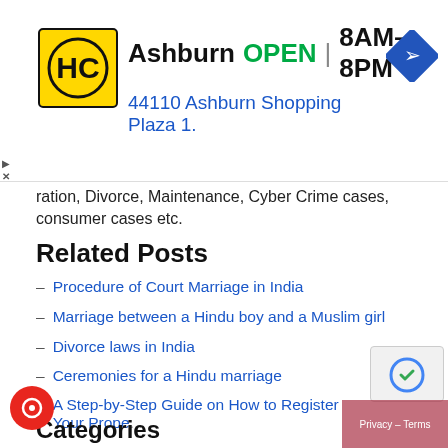[Figure (other): Advertisement banner for HC store in Ashburn showing logo, OPEN status, hours 8AM-8PM, and address 44110 Ashburn Shopping Plaza 1.]
ration, Divorce, Maintenance, Cyber Crime cases, consumer cases etc.
Related Posts
Procedure of Court Marriage in India
Marriage between a Hindu boy and a Muslim girl
Divorce laws in India
Ceremonies for a Hindu marriage
A Step-by-Step Guide on How to Register Your Prope...
Categories